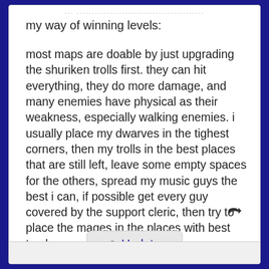... ..........................................
my way of winning levels:
most maps are doable by just upgrading the shuriken trolls first. they can hit everything, they do more damage, and many enemies have physical as their weakness, especially walking enemies. i usually place my dwarves in the tighest corners, then my trolls in the best places that are still left, leave some empty spaces for the others, spread my music guys the best i can, if possible get every guy covered by the support cleric, then try to place the mages in the places with best track coverage.
[Figure (other): Reply/forward arrow icon]
Update